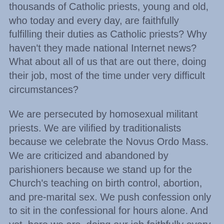thousands of Catholic priests, young and old, who today and every day, are faithfully fulfilling their duties as Catholic priests? Why haven't they made national Internet news? What about all of us that are out there, doing their job, most of the time under very difficult circumstances?
We are persecuted by homosexual militant priests. We are vilified by traditionalists because we celebrate the Novus Ordo Mass. We are criticized and abandoned by parishioners because we stand up for the Church's teaching on birth control, abortion, and pre-marital sex. We push confession only to sit in the confessional for hours alone. And yet, here we are, doing our job faithfully every day — and we are not featured on the Internet.
We know from Sacred Scripture that "the gates of hell shall not prevail," but in the meantime, the Catholic Church in this country is in a terrible mess. Catholic priests need to remain at their